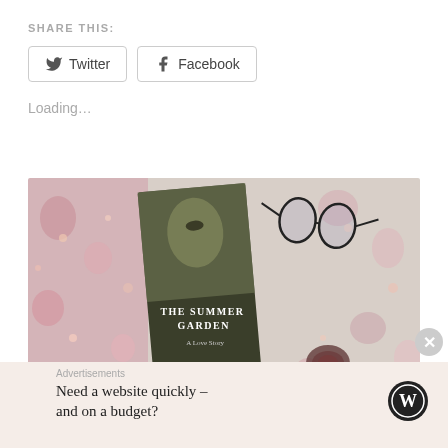SHARE THIS:
Twitter
Facebook
Loading…
[Figure (photo): A book titled 'The Summer Garden' by Paullina Simons lying on floral fabric with glasses and a dried flower nearby.]
Advertisements
Need a website quickly – and on a budget?